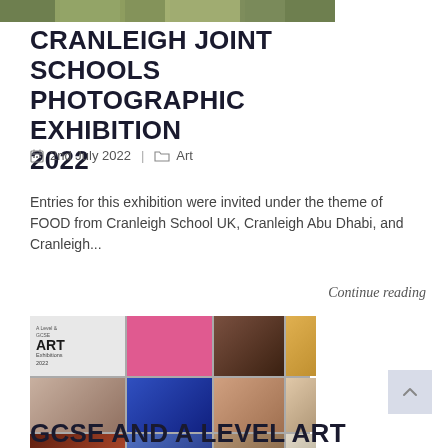[Figure (photo): Top strip showing colorful foliage/nature photograph cropped to a horizontal banner]
CRANLEIGH JOINT SCHOOLS PHOTOGRAPHIC EXHIBITION 2022
2nd July 2022 | Art
Entries for this exhibition were invited under the theme of FOOD from Cranleigh School UK, Cranleigh Abu Dhabi, and Cranleigh...
Continue reading
[Figure (photo): Art exhibition promotional collage showing multiple artworks including portraits, abstract paintings, and drawings under the heading A Level & GCSE Art Exhibitions 2022]
GCSE AND A LEVEL ART